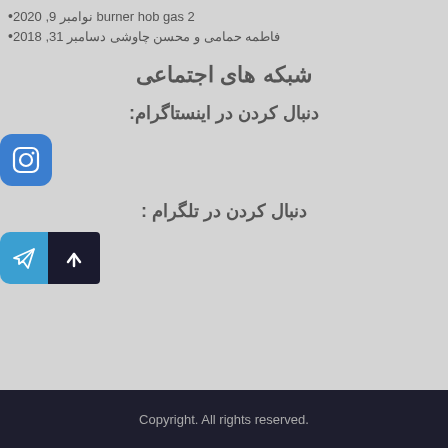burner hob gas 2 • نوامبر 9, 2020
فاطمه حمامی و محسن چاوشی • دسامبر 31, 2018
شبکه های اجتماعی
دنبال کردن در اینستاگرام:
[Figure (logo): Instagram icon button, blue rounded square]
دنبال کردن در تلگرام :
[Figure (logo): Telegram icon button and scroll-to-top arrow button]
Copyright. All rights reserved.